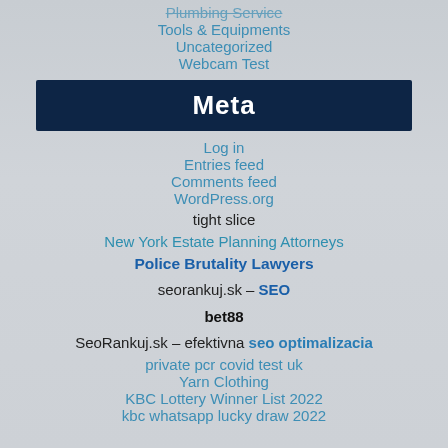Plumbing Service
Tools & Equipments
Uncategorized
Webcam Test
Meta
Log in
Entries feed
Comments feed
WordPress.org
tight slice
New York Estate Planning Attorneys
Police Brutality Lawyers
seorankuj.sk – SEO
bet88
SeoRankuj.sk – efektivna seo optimalizacia
private pcr covid test uk
Yarn Clothing
KBC Lottery Winner List 2022
kbc whatsapp lucky draw 2022